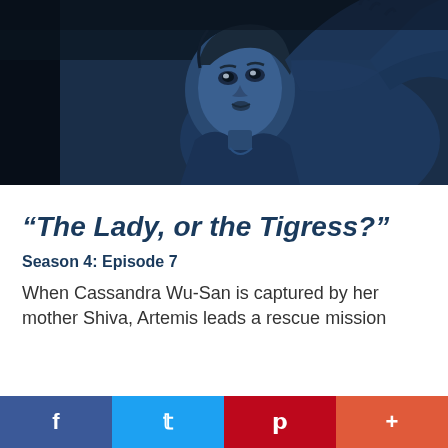[Figure (illustration): Animated still from a TV show showing a young person with dark hair looking upward with a worried expression, in a dark blue-toned scene.]
“The Lady, or the Tigress?”
Season 4: Episode 7
When Cassandra Wu-San is captured by her mother Shiva, Artemis leads a rescue mission